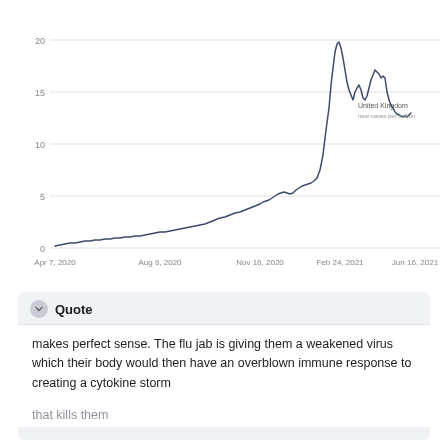[Figure (continuous-plot): Line chart showing United Kingdom new cases per million over time from Apr 7, 2020 to Jun 16, 2021. Y-axis ranges 0-20. Starts near 0, slowly rises to ~5 by Aug 2020, climbs to ~9 by Nov 2020, peaks sharply near 20 around Feb 2021, then declines with fluctuations to ~13-14 by Jun 2021.]
[Figure (screenshot): Quote block from social media with header 'Quote' and text: 'makes perfect sense. The flu jab is giving them a weakened virus which their body would then have an overblown immune response to creating a cytokine storm that kills them']
makes perfect sense. The flu jab is giving them a weakened virus which their body would then have an overblown immune response to creating a cytokine storm that kills them